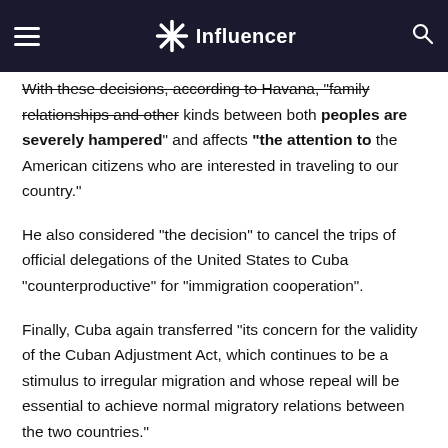Influencer
With these decisions, according to Havana, "family relationships and other kinds between both peoples are severely hampered" and affects "the attention to the American citizens who are interested in traveling to our country."
He also considered “the decision” to cancel the trips of official delegations of the United States to Cuba “counterproductive” for “immigration cooperation”.
Finally, Cuba again transferred “its concern for the validity of the Cuban Adjustment Act, which continues to be a stimulus to irregular migration and whose repeal will be essential to achieve normal migratory relations between the two countries.”
The US delegation was led by Assistant Deputy Assistant Secretary for Western Hemisphere Affairs of the Department